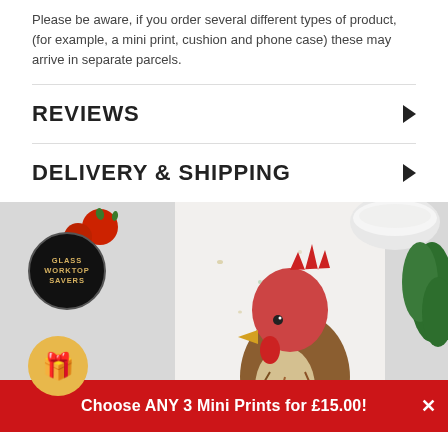Please be aware, if you order several different types of product, (for example, a mini print, cushion and phone case) these may arrive in separate parcels.
REVIEWS
DELIVERY & SHIPPING
[Figure (photo): Photo of a glass worktop saver featuring a painted rooster/cockerel artwork, with tomatoes, herbs and a bowl of flour in the background. A circular black badge reads 'GLASS WORKTOP SAVERS' in gold text.]
Choose ANY 3 Mini Prints for £15.00!